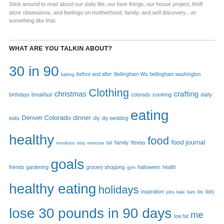Stick around to read about our daily life, our fave things, our house project, thrift store obsessions, and feelings on motherhood, family, and self discovery....er something like that.
WHAT ARE YOU TALKIN ABOUT?
30 in 90 baking before and after Bellingham Wa bellingham washington birthdays breakfast christmas Clothing colorado cooking crafting daily eats Denver Colorado dinner diy diy wedding eating healthy emotions etsy exercise fall family fitness food food journal friends gardening goals grocery shopping gym halloween health healthy eating holidays inspiration jobs kale liam life lists lose 30 pounds in 90 days low fat me meals meetings motivation moving Mr. Gaunt our house painting photos Pictures pizza plans recipes restaurants running shopping summer thanksgiving us